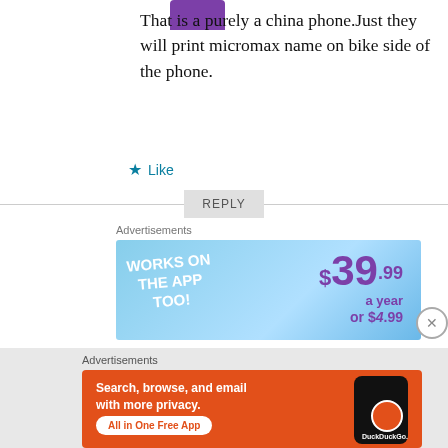[Figure (illustration): Purple rounded rectangle avatar stub at top]
That is a purely a china phone.Just they will print micromax name on bike side of the phone.
★ Like
REPLY
Advertisements
[Figure (screenshot): Ad banner: WORKS ON THE APP TOO! $39.99 a year or $4.99]
Advertisements
[Figure (screenshot): DuckDuckGo ad: Search, browse, and email with more privacy. All in One Free App. DuckDuckGo.]